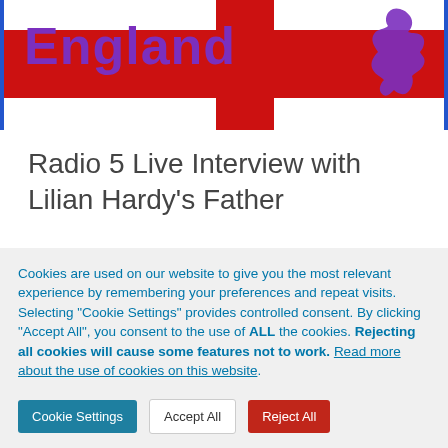[Figure (illustration): England website header banner showing red cross of St George flag background with 'England' text in purple bold font and purple silhouette map of England in top right corner]
Radio 5 Live Interview with Lilian Hardy's Father
Cookies are used on our website to give you the most relevant experience by remembering your preferences and repeat visits.
Selecting "Cookie Settings" provides controlled consent. By clicking "Accept All", you consent to the use of ALL the cookies.
Rejecting all cookies will cause some features not to work. Read more about the use of cookies on this website.